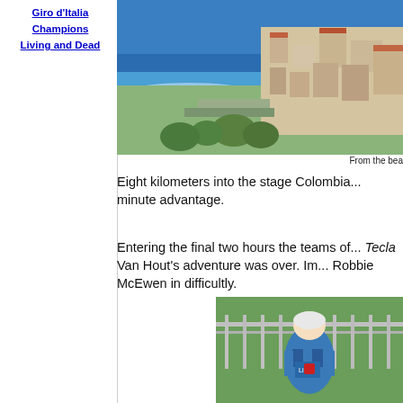Giro d'Italia Champions Living and Dead
[Figure (photo): Aerial/elevated view of a coastal Italian town with white and terracotta buildings, blue sea with waves, harbor area and vegetation]
From the bea
Eight kilometers into the stage Colombia... minute advantage.
Entering the final two hours the teams of... Tecla Van Hout's adventure was over. Im... Robbie McEwen in difficultly.
[Figure (photo): Cyclist in blue jersey with white helmet riding a bicycle, fence in background]